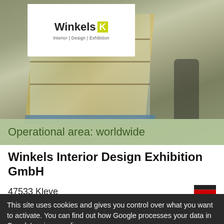[Figure (photo): Blurry warehouse/exhibition logistics photo showing a person pushing a pallet loaded with boxes wrapped in plastic, with Winkels Interior Design Exhibition GmbH logo overlay in top-left corner]
Operational area: worldwide
Winkels Interior Design Exhibition GmbH
47533 Kleve
Booth Builders
This site uses cookies and gives you control over what you want to activate. You can find out how Google processes your data in Google's privacy policy.
✓ OK, accept all
✗ Deny all cookies
Personalize
Privacy policy